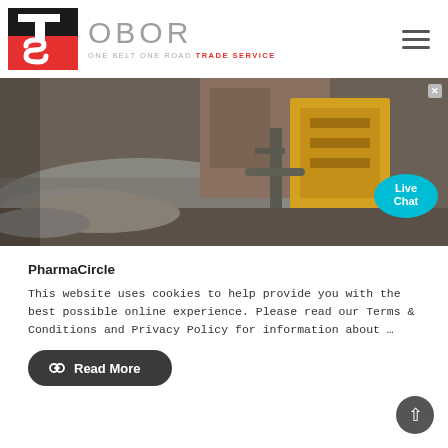[Figure (logo): OBOR Trade Service logo with red and black icon and grey OBOR text, tagline ONE BELT ONE ROAD TRADE SERVICE]
[Figure (photo): Industrial quarry/mining site with gravel mounds, rock crusher machinery, yellow and brown heavy equipment]
PharmaCircle
This website uses cookies to help provide you with the best possible online experience. Please read our Terms & Conditions and Privacy Policy for information about ...
[Figure (other): Read More button - dark rounded rectangle with chain-link icon]